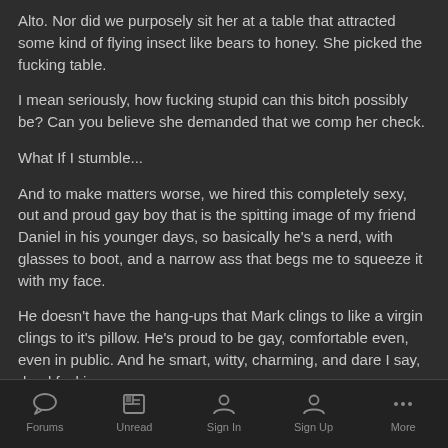Alto. Nor did we purposely sit her at a table that attracted some kind of flying insect like bears to honey. She picked the fucking table.
I mean seriously, how fucking stupid can this bitch possibly be? Can you believe she demanded that we comp her check.
What If I stumble...
And to make matters worse, we hired this completely sexy, out and proud gay boy that is the spitting image of my friend Daniel in his younger days, so basically he's a nerd, with glasses to boot, and a narrow ass that begs me to squeeze it with my face.
He doesn't have the hang-ups that Mark clings to like a virgin clings to it's pillow. He's proud to be gay, comfortable even, even in public. And he smart, witty, charming, and dare I say, dead fucking sexy.
What If I Stumble...
Forums  Unread  Sign In  Sign Up  More